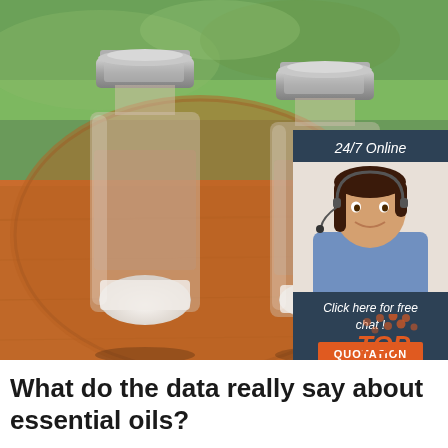[Figure (photo): Two small glass vials with metal caps containing white powder/crystalline substance, placed on a wooden surface outdoors with green grass in the background.]
[Figure (photo): Advertisement overlay: dark blue/slate background with text '24/7 Online', an image of a smiling woman with headset, text 'Click here for free chat!', and an orange button labeled 'QUOTATION'.]
[Figure (logo): TOP badge in orange italic text with dot pattern above.]
What do the data really say about essential oils?